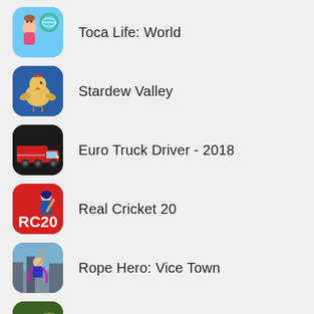Toca Life: World
Stardew Valley
Euro Truck Driver - 2018
Real Cricket 20
Rope Hero: Vice Town
Jurassic Survival
Terraria
My Talking Tom 2